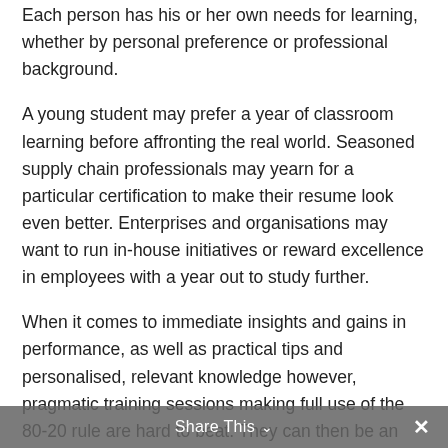Each person has his or her own needs for learning, whether by personal preference or professional background.
A young student may prefer a year of classroom learning before affronting the real world. Seasoned supply chain professionals may yearn for a particular certification to make their resume look even better. Enterprises and organisations may want to run in-house initiatives or reward excellence in employees with a year out to study further.
When it comes to immediate insights and gains in performance, as well as practical tips and personalised, relevant knowledge however, pragmatic training sessions making full use of the 80-20 rule are hard to beat. They can then be an excellent route towards sharply improved results
Share This ∨  ×